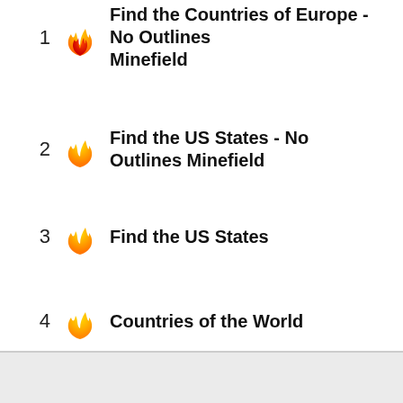1 Find the Countries of Europe - No Outlines Minefield
2 Find the US States - No Outlines Minefield
3 Find the US States
4 Countries of the World
5 Capitals by Second Letter Minefield